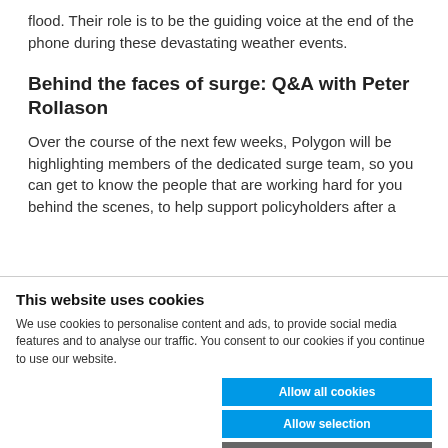flood. Their role is to be the guiding voice at the end of the phone during these devastating weather events.
Behind the faces of surge: Q&A with Peter Rollason
Over the course of the next few weeks, Polygon will be highlighting members of the dedicated surge team, so you can get to know the people that are working hard for you behind the scenes, to help support policyholders after a
This website uses cookies
We use cookies to personalise content and ads, to provide social media features and to analyse our traffic. You consent to our cookies if you continue to use our website.
Allow all cookies
Allow selection
Use necessary cookies only
Necessary   Preferences   Statistics   Marketing   Show details